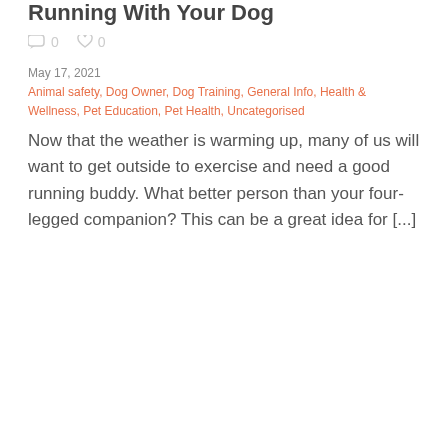Running With Your Dog
0  0
May 17, 2021
Animal safety, Dog Owner, Dog Training, General Info, Health & Wellness, Pet Education, Pet Health, Uncategorised
Now that the weather is warming up, many of us will want to get outside to exercise and need a good running buddy. What better person than your four-legged companion? This can be a great idea for [...]